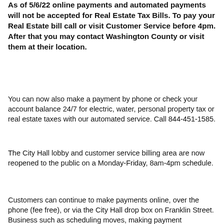As of 5/6/22 online payments and automated payments will not be accepted for Real Estate Tax Bills. To pay your Real Estate bill call or visit Customer Service before 4pm. After that you may contact Washington County or visit them at their location.
You can now also make a payment by phone or check your account balance 24/7 for electric, water, personal property tax or real estate taxes with our automated service. Call 844-451-1585.
The City Hall lobby and customer service billing area are now reopened to the public on a Monday-Friday, 8am-4pm schedule.
Customers can continue to make payments online, over the phone (fee free), or via the City Hall drop box on Franklin Street. Business such as scheduling moves, making payment...